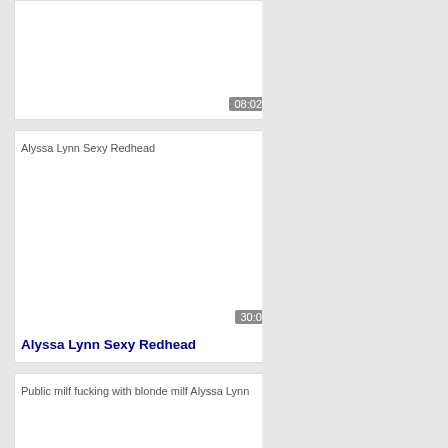[Figure (screenshot): Partial video card at top with timestamp 08:02]
[Figure (screenshot): Video thumbnail placeholder for Alyssa Lynn Sexy Redhead]
Alyssa Lynn Sexy Redhead
[Figure (screenshot): Video thumbnail placeholder for Public milf fucking with blonde milf Alyssa Lynn]
Public milf fucking with blonde milf Alyssa Lynn